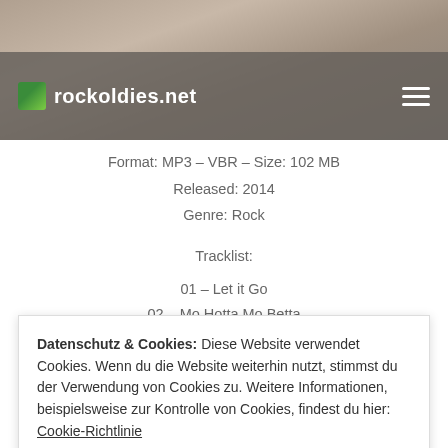[Figure (screenshot): Website header with photo background showing a person with a guitar, overlaid with a dark translucent bar containing the rockoldies.net logo and a hamburger menu icon]
Format: MP3 – VBR – Size: 102 MB
Released: 2014
Genre: Rock
Tracklist:
01 – Let it Go
02 – Mo Hotta Mo Betta
03 – Goodbye Peggy Sue
04 – Royals
05 – My Baby Left Me for A DJ
06 – Retrospect
Datenschutz & Cookies: Diese Website verwendet Cookies. Wenn du die Website weiterhin nutzt, stimmst du der Verwendung von Cookies zu. Weitere Informationen, beispielsweise zur Kontrolle von Cookies, findest du hier: Cookie-Richtlinie
Schließen und akzeptieren
13 – Diamonds